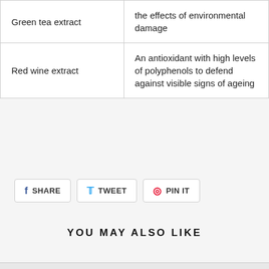| Ingredient | Benefit |
| --- | --- |
| Green tea extract | the effects of environmental damage |
| Red wine extract | An antioxidant with high levels of polyphenols to defend against visible signs of ageing |
SHARE
TWEET
PIN IT
YOU MAY ALSO LIKE